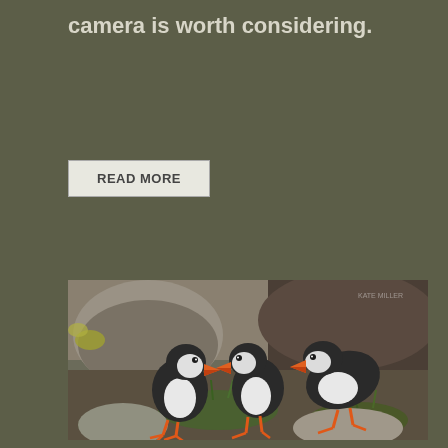camera is worth considering.
READ MORE
[Figure (photo): Three Atlantic puffins standing among rocks and grass, showing their distinctive black-and-white plumage and colorful orange bills. Photo taken outdoors in natural rocky habitat.]